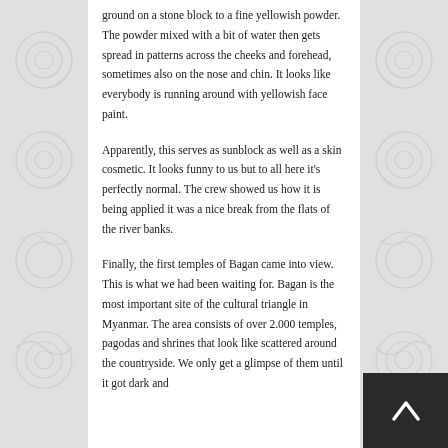ground on a stone block to a fine yellowish powder. The powder mixed with a bit of water then gets spread in patterns across the cheeks and forehead, sometimes also on the nose and chin. It looks like everybody is running around with yellowish face paint.
Apparently, this serves as sunblock as well as a skin cosmetic. It looks funny to us but to all here it's perfectly normal. The crew showed us how it is being applied it was a nice break from the flats of the river banks.
Finally, the first temples of Bagan came into view. This is what we had been waiting for. Bagan is the most important site of the cultural triangle in Myanmar. The area consists of over 2.000 temples, pagodas and shrines that look like scattered around the countryside. We only get a glimpse of them until it got dark and